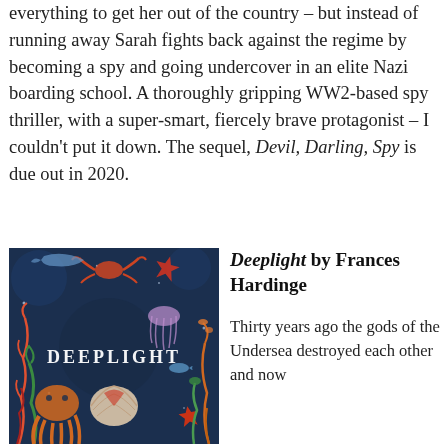everything to get her out of the country – but instead of running away Sarah fights back against the regime by becoming a spy and going undercover in an elite Nazi boarding school. A thoroughly gripping WW2-based spy thriller, with a super-smart, fiercely brave protagonist – I couldn't put it down. The sequel, Devil, Darling, Spy is due out in 2020.
[Figure (photo): Book cover of Deeplight by Frances Hardinge, featuring an underwater scene with sea creatures including an octopus, starfish, jellyfish, and various sea plants on a dark blue background with the title DEEPLIGHT in white letters]
Deeplight by Frances Hardinge
Thirty years ago the gods of the Undersea destroyed each other and now